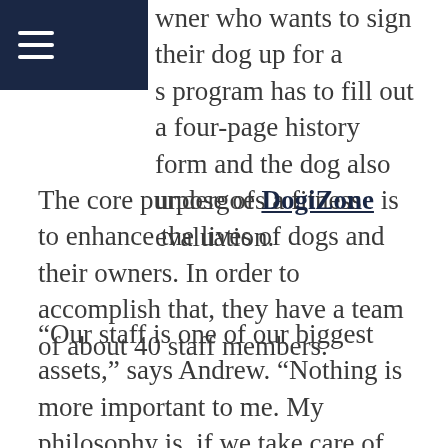Navigation bar with hamburger menu icon
owner who wants to sign their dog up for a s program has to fill out a four-page history form and the dog also undergoes a fitness evaluation.
The core purpose of DogiZone is to enhance the lives of dogs and their owners. In order to accomplish that, they have a team of about 40 staff members.
“Our staff is one of our biggest assets,” says Andrew. “Nothing is more important to me. My philosophy is, if we take care of our employees, they will take care of our clients. Our full-time team members get three to four weeks of paid vacation, their birthday off with pay, a 401K, health insurance and employee discounts.”